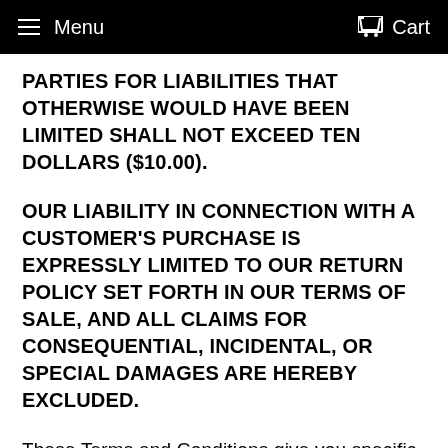Menu   Cart
PARTIES FOR LIABILITIES THAT OTHERWISE WOULD HAVE BEEN LIMITED SHALL NOT EXCEED TEN DOLLARS ($10.00).
OUR LIABILITY IN CONNECTION WITH A CUSTOMER'S PURCHASE IS EXPRESSLY LIMITED TO OUR RETURN POLICY SET FORTH IN OUR TERMS OF SALE, AND ALL CLAIMS FOR CONSEQUENTIAL, INCIDENTAL, OR SPECIAL DAMAGES ARE HEREBY EXCLUDED.
These Terms and Conditions give you specific legal rights and you may also have other rights which vary from country to country. Some jurisdictions do not allow certain kinds of limitations or exclusions of liability, so the limitations and exclusions set out in these Terms and Conditions may not apply to you. Other jurisdictions allow